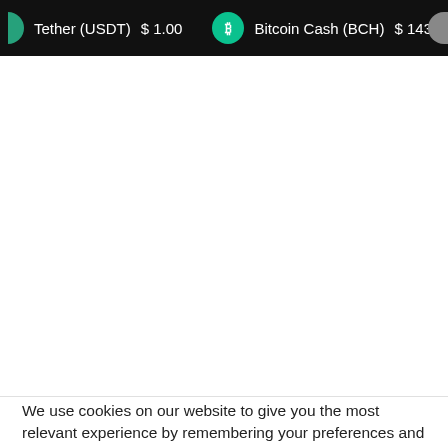Tether (USDT)  $1.00    Bitcoin Cash (BCH)  $143.43
We use cookies on our website to give you the most relevant experience by remembering your preferences and repeat visits. By clicking “Accept”, you consent to the use of ALL the cookies.
Do not sell my personal information.
Cookie settings   ACCEPT